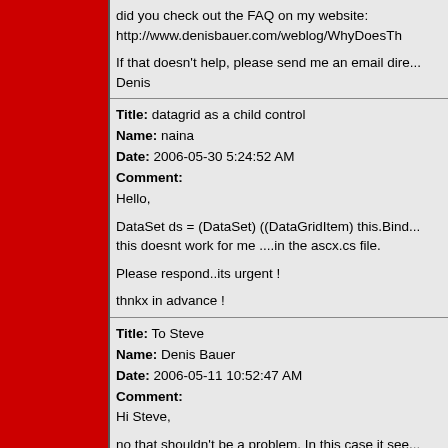did you check out the FAQ on my website: http://www.denisbauer.com/weblog/WhyDoesTh

If that doesn't help, please send me an email dire...
Denis
Title: datagrid as a child control
Name: naina
Date: 2006-05-30 5:24:52 AM
Comment:
Hello,

DataSet ds = (DataSet) ((DataGridItem) this.Bind...
this doesnt work for me ....in the ascx.cs file.

Please respond..its urgent !

thnkx in advance !
Title: To Steve
Name: Denis Bauer
Date: 2006-05-11 10:52:47 AM
Comment:
Hi Steve,

no that shouldn't be a problem. In this case it see...
you using binary references? Please send me the...

Denis
Title: Mr
Name: Steve Bagnall